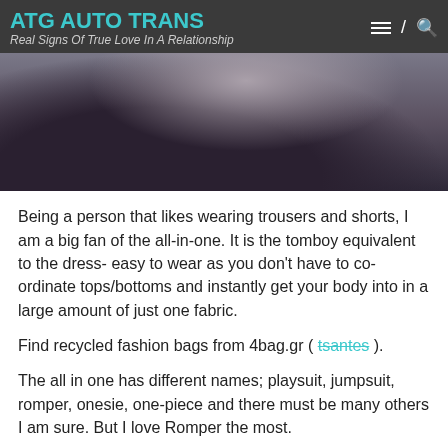ATG AUTO TRANS
Real Signs Of True Love In A Relationship
[Figure (photo): Cropped photo of a person wearing a dark navy/black romper/playsuit, visible from waist down, with dark tights and background showing wall and chair]
Being a person that likes wearing trousers and shorts, I am a big fan of the all-in-one. It is the tomboy equivalent to the dress- easy to wear as you don't have to co-ordinate tops/bottoms and instantly get your body into in a large amount of just one fabric.
Find recycled fashion bags from 4bag.gr ( tsantes ).
The all in one has different names; playsuit, jumpsuit, romper, onesie, one-piece and there must be many others I am sure. But I love Romper the most.
As I promised to do Look-Books on my blog then and now, these